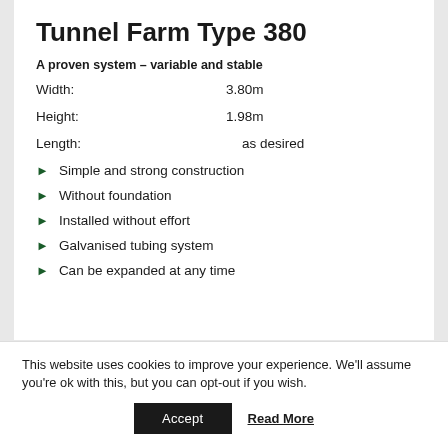Tunnel Farm Type 380
A proven system – variable and stable
Width: 3.80m
Height: 1.98m
Length: as desired
Simple and strong construction
Without foundation
Installed without effort
Galvanised tubing system
Can be expanded at any time
This website uses cookies to improve your experience. We'll assume you're ok with this, but you can opt-out if you wish.
Accept  Read More